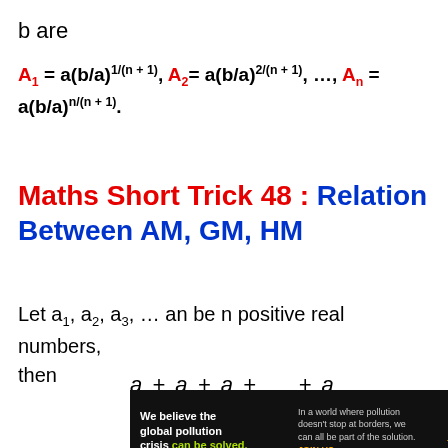b are
Maths Short Trick 48 : Relation Between AM, GM, HM
Let a₁, a₂, a₃, … an be n positive real numbers, then
[Figure (other): Advertisement banner: Pure Earth pollution awareness ad with text 'We believe the global pollution crisis can be solved.' and 'JOIN US.']
[Figure (math-figure): Partial formula showing a + a + a + ... + a (numerator of AM formula)]